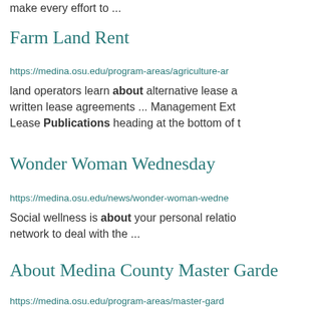make every effort to ...
Farm Land Rent
https://medina.osu.edu/program-areas/agriculture-a...
land operators learn about alternative lease a... written lease agreements ... Management Ext... Lease Publications heading at the bottom of t...
Wonder Woman Wednesday
https://medina.osu.edu/news/wonder-woman-wedne...
Social wellness is about your personal relatio... network to deal with the ...
About Medina County Master Garde...
https://medina.osu.edu/program-areas/master-gard...